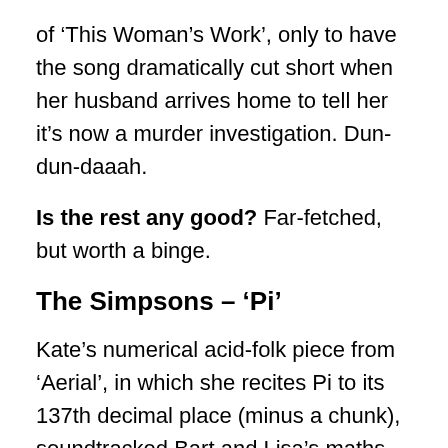of 'This Woman's Work', only to have the song dramatically cut short when her husband arrives home to tell her it's now a murder investigation. Dun-dun-daaah.
Is the rest any good? Far-fetched, but worth a binge.
The Simpsons – 'Pi'
Kate's numerical acid-folk piece from 'Aerial', in which she recites Pi to its 137th decimal place (minus a chunk), soundtracked Bart and Lisa's maths meet rematch against Waverly Hills Elementary. Still no guest appearance though – sort